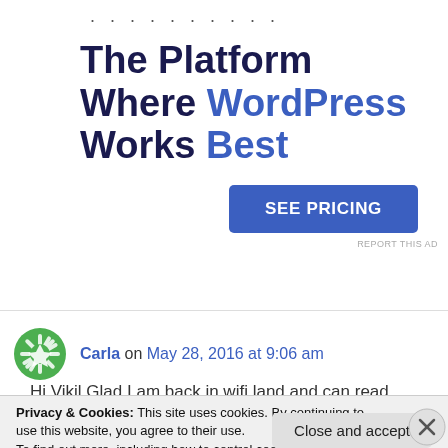[Figure (screenshot): Advertisement banner with dotted decoration, headline 'The Platform Where WordPress Works Best' in dark navy and blue, and a blue 'SEE PRICING' button]
Carla on May 28, 2016 at 9:06 am
Hi Vikil Glad I am back in wifi land and can read
Privacy & Cookies: This site uses cookies. By continuing to use this website, you agree to their use.
To find out more, including how to control cookies, see here: Cookie Policy
Close and accept